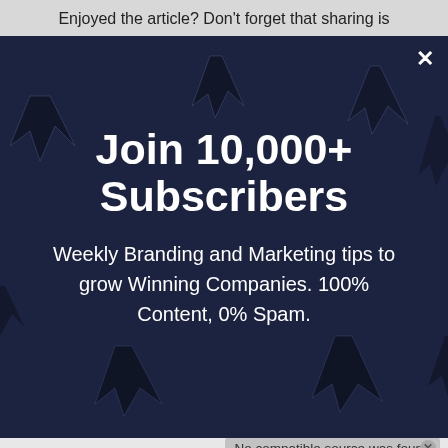Enjoyed the article? Don’t forget that sharing is
[Figure (screenshot): Dark navy blue modal popup with cursor/arrow icons scattered as background decoration. White X close button in top-right corner. Contains newsletter subscription call-to-action.]
Join 10,000+ Subscribers
Weekly Branding and Marketing tips to grow Winning Companies. 100% Content, 0% Spam.
[Figure (screenshot): Media player error message: No compatible source was found for this media.]
[Figure (screenshot): BitLife mobile game advertisement banner. Light blue background with BitLife logo, NOW WITH GOD MODE text, cartoon hand pointing, and close/help buttons.]